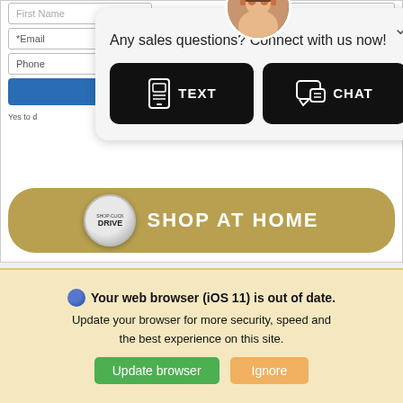[Figure (screenshot): Web form with First Name, Last Name, Email, Phone fields and a blue submit button with checkbox]
[Figure (screenshot): Chat popup with agent avatar, 'Any sales questions? Connect with us now!' message, and TEXT and CHAT buttons]
[Figure (screenshot): Gold 'Shop at Home' button with Shop-Click-Drive badge]
[Figure (screenshot): Black banner with bold white text 'LOOKING']
Your web browser (iOS 11) is out of date. Update your browser for more security, speed and the best experience on this site.
Update browser
Ignore